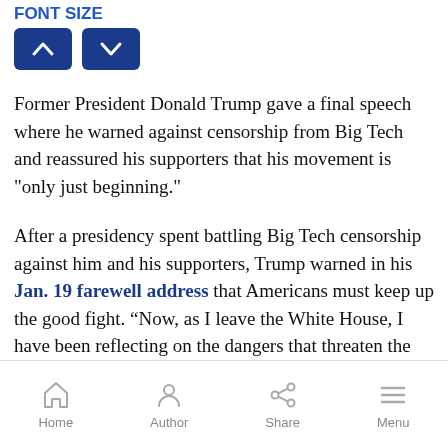FONT SIZE (up/down buttons)
Former President Donald Trump gave a final speech where he warned against censorship from Big Tech and reassured his supporters that his movement is "only just beginning."
After a presidency spent battling Big Tech censorship against him and his supporters, Trump warned in his Jan. 19 farewell address that Americans must keep up the good fight. “Now, as I leave the White House, I have been reflecting on the dangers that threaten the priceless inheritance we all share,” Trump declared. Trump illustrated specifically that at the “center” of
Home  Author  Share  Menu